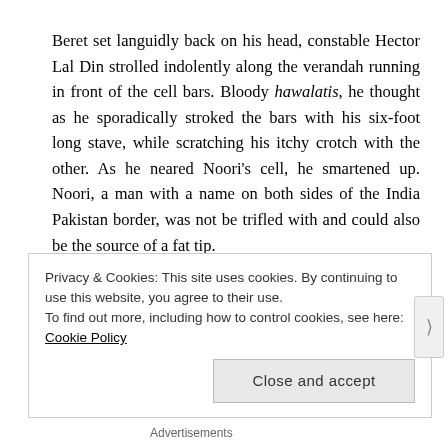Beret set languidly back on his head, constable Hector Lal Din strolled indolently along the verandah running in front of the cell bars. Bloody hawalatis, he thought as he sporadically stroked the bars with his six-foot long stave, while scratching his itchy crotch with the other. As he neared Noori's cell, he smartened up. Noori, a man with a name on both sides of the India Pakistan border, was not be trifled with and could also be the source of a fat tip.
“Ohé Hectorah!” Noori’s said quietly.
Hector went up to the cell bars. “Jee Noori Jee?” he inquired respectively, ensconcing the renowned bandit’s name in respectful prefix and suffix.
Privacy & Cookies: This site uses cookies. By continuing to use this website, you agree to their use.
To find out more, including how to control cookies, see here: Cookie Policy
Close and accept
Advertisements